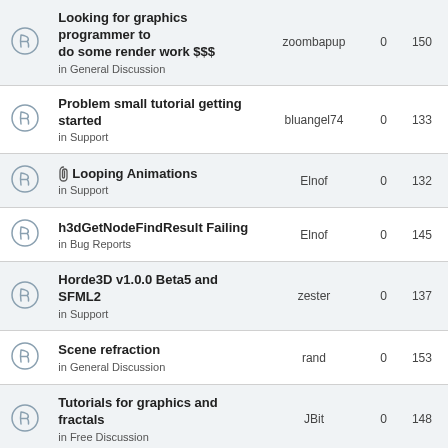|  | Topic | Author | Replies | Views |
| --- | --- | --- | --- | --- |
|  | Looking for graphics programmer to do some render work $$$
in General Discussion | zoombapup | 0 | 150 |
|  | Problem small tutorial getting started
in Support | bluangel74 | 0 | 133 |
| [attachment] | Looping Animations
in Support | Elnof | 0 | 132 |
|  | h3dGetNodeFindResult Failing
in Bug Reports | Elnof | 0 | 145 |
|  | Horde3D v1.0.0 Beta5 and SFML2
in Support | zester | 0 | 137 |
|  | Scene refraction
in General Discussion | rand | 0 | 153 |
|  | Tutorials for graphics and fractals
in Free Discussion | JBit | 0 | 148 |
|  | Rich semantics in rendering engine
in General Discussion | shd | 0 | 133 |
|  | Bug? View Matrix is always Identity for first 3 frames
in Bug Reports | Spacecookies | 0 | 166 |